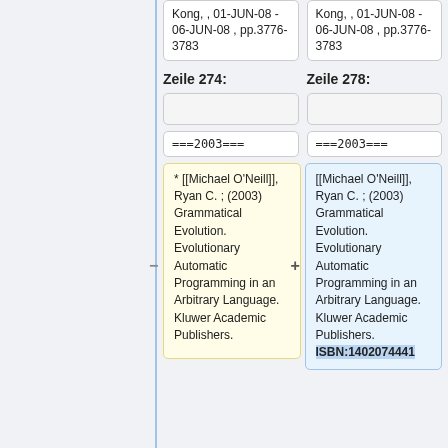Kong, , 01-JUN-08 - 06-JUN-08 , pp.3776-3783
Kong, , 01-JUN-08 - 06-JUN-08 , pp.3776-3783
Zeile 274:
Zeile 278:
===2003===
===2003===
* [[Michael O'Neill]], Ryan C. ; (2003) Grammatical Evolution. Evolutionary Automatic Programming in an Arbitrary Language. Kluwer Academic Publishers.
[[Michael O'Neill]], Ryan C. ; (2003) Grammatical Evolution. Evolutionary Automatic Programming in an Arbitrary Language. Kluwer Academic Publishers. ISBN:1402074441